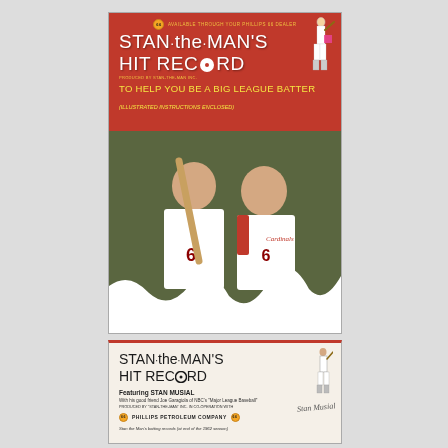[Figure (photo): Album cover for 'Stan the Man's Hit Record' — top half is red with white/yellow text and title, bottom half shows a photo of Stan Musial (#6, Cardinals) posing with a young boy in baseball uniform holding a bat, with a torn white paper effect at the bottom]
[Figure (photo): Insert booklet cover showing 'Stan the Man's Hit Record' title in black print on off-white background, featuring Stan Musial, produced by Phillips Petroleum Company, with small batter illustration and cursive signature]
Stan the Man's batting records (at end of the 1962 season)